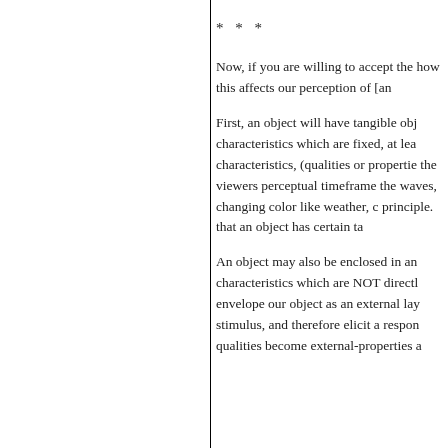* * *
Now, if you are willing to accept the how this affects our perception of [an
First, an object will have tangible obj characteristics which are fixed, at lea characteristics, (qualities or propertie the viewers perceptual timeframe the waves, changing color like weather, c principle. that an object has certain ta
An object may also be enclosed in an characteristics which are NOT directl envelope our object as an external lay stimulus, and therefore elicit a respon qualities become external-properties a